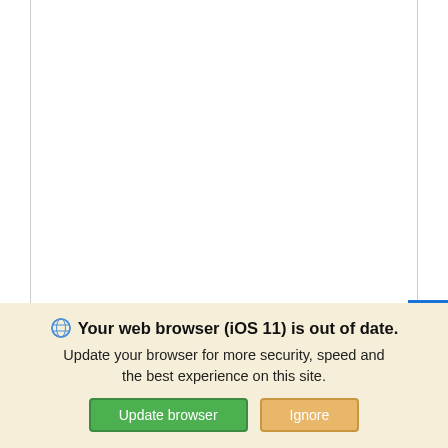[Figure (screenshot): White content area of a dealership website showing a vehicle listing. An accessibility icon (blue button with white person figure) appears on the right side.]
STOCK#: EY83659    VIN: 1N6ED1CL8NN693073
New 2022 Nissan Frontier 4x2
King Cab® SV Pickup Crew Cab Pickup 9-speed automatic transmission
Your web browser (iOS 11) is out of date. Update your browser for more security, speed and the best experience on this site.
Update browser
Ignore